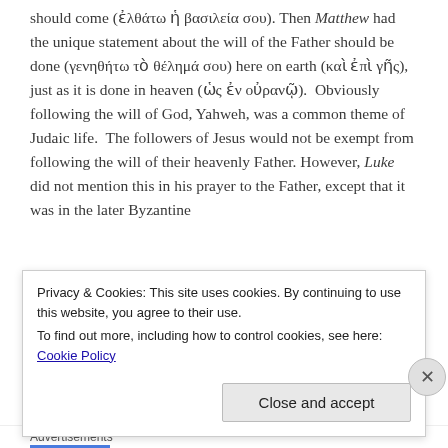should come (ἐλθάτω ἡ βασιλεία σου). Then Matthew had the unique statement about the will of the Father should be done (γενηθήτω τὸ θέλημά σου) here on earth (καὶ ἐπὶ γῆς), just as it is done in heaven (ὡς ἐν οὐρανῷ). Obviously following the will of God, Yahweh, was a common theme of Judaic life. The followers of Jesus would not be exempt from following the will of their heavenly Father. However, Luke did not mention this in his prayer to the Father, except that it was in the later Byzantine
Privacy & Cookies: This site uses cookies. By continuing to use this website, you agree to their use.
To find out more, including how to control cookies, see here: Cookie Policy
Close and accept
Advertisements